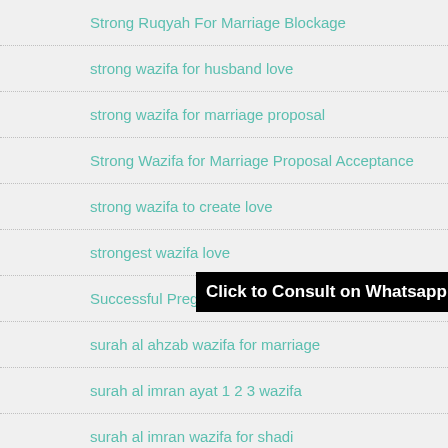Strong Ruqyah For Marriage Blockage
strong wazifa for husband love
strong wazifa for marriage proposal
Strong Wazifa for Marriage Proposal Acceptance
strong wazifa to create love
strongest wazifa love
[Figure (other): Black banner button with white bold text reading 'Click to Consult on Whatsapp']
Successful Pregnancy Dua
surah al ahzab wazifa for marriage
surah al imran ayat 1 2 3 wazifa
surah al imran wazifa for shadi